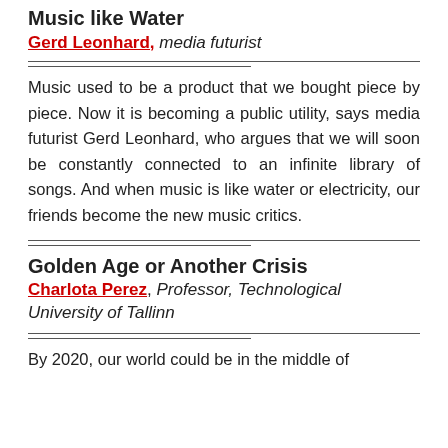Music like Water
Gerd Leonhard, media futurist
Music used to be a product that we bought piece by piece. Now it is becoming a public utility, says media futurist Gerd Leonhard, who argues that we will soon be constantly connected to an infinite library of songs. And when music is like water or electricity, our friends become the new music critics.
Golden Age or Another Crisis
Charlota Perez, Professor, Technological University of Tallinn
By 2020, our world could be in the middle of